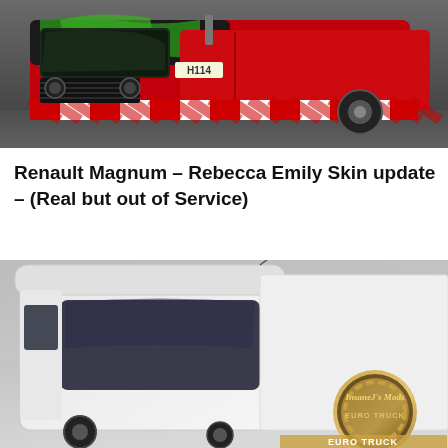[Figure (photo): 3D render of a red and green truck cab with striped hazard pattern bumper, labeled H114, on a dark grey background]
Renault Magnum – Rebecca Emily Skin update – (Real but out of Service)
[Figure (photo): 3D render of a white truck cab with StobartGroup.com livery, with InsaneJ's Mods Euro Truck watermark logo in bottom right, on a grey background]